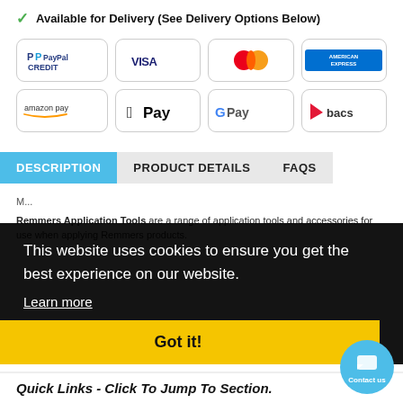✓ Available for Delivery (See Delivery Options Below)
[Figure (infographic): Payment method logos in a 2-row, 4-column grid: PayPal Credit, Visa, Mastercard, American Express, Amazon Pay, Apple Pay, Google Pay, Bacs]
DESCRIPTION | PRODUCT DETAILS | FAQS (tabs)
This website uses cookies to ensure you get the best experience on our website.
Learn more
Got it!
Remmers Application Tools are a range of application tools and accessories for use when applying Remmers products.
Quick Links - Click To Jump To Section.